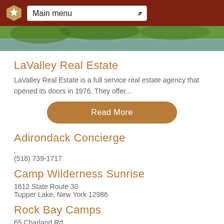Main menu
[Figure (photo): Partial nature/landscape photo showing trees and water]
LaValley Real Estate
LaValley Real Estate is a full service real estate agency that opened its doors in 1976. They offer...
Read More
Adirondack Concierge
,
(518) 739-1717
Camp Wilderness Sunrise
1612 State Route 30
Tupper Lake, New York 12986
Rock Bay Camps
65 Charland Rd